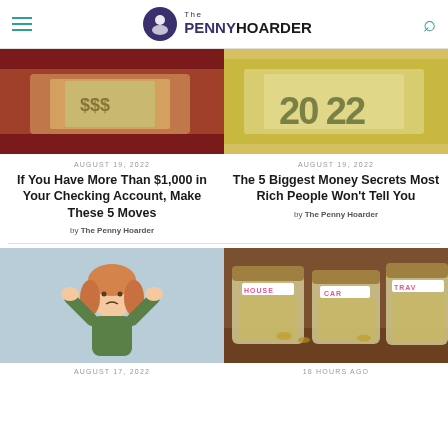The PENNY HOARDER
[Figure (photo): Hands holding a fan of US dollar bills]
[Figure (photo): Hand holding $20 bills, showing '20 22' on the bills]
AUGUST 19, 2022
If You Have More Than $1,000 in Your Checking Account, Make These 5 Moves
by The Penny Hoarder
AUGUST 19, 2022
The 5 Biggest Money Secrets Most Rich People Won't Tell You
by The Penny Hoarder
[Figure (illustration): Stressed woman with hands on her head, cartoon illustration on blue background]
[Figure (photo): Glass jars labeled HOUSE, CAR, TRAV (travel) filled with money and coins]
AUGUST 17, 2022
18 HOURS AGO